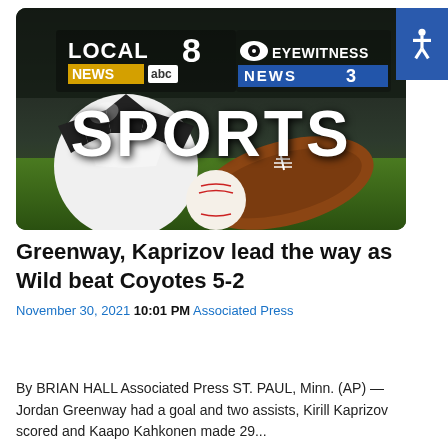[Figure (photo): Sports banner image showing soccer ball, baseball, and football on grass with LOCAL 8 NEWS abc and CBS EYEWITNESS NEWS 3 logos, and SPORTS text overlay]
Greenway, Kaprizov lead the way as Wild beat Coyotes 5-2
November 30, 2021 10:01 PM Associated Press
By BRIAN HALL Associated Press ST. PAUL, Minn. (AP) — Jordan Greenway had a goal and two assists, Kirill Kaprizov scored and Kaapo Kahkonen made 29...